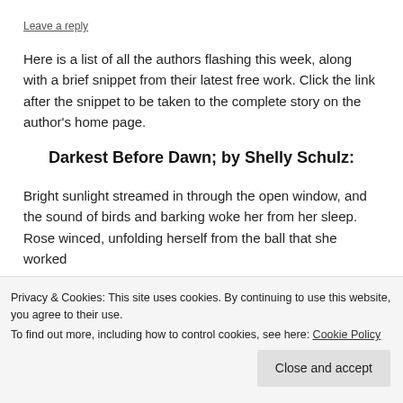Leave a reply
Here is a list of all the authors flashing this week, along with a brief snippet from their latest free work. Click the link after the snippet to be taken to the complete story on the author's home page.
Darkest Before Dawn; by Shelly Schulz:
Bright sunlight streamed in through the open window, and the sound of birds and barking woke her from her sleep. Rose winced, unfolding herself from the ball that she worked
Privacy & Cookies: This site uses cookies. By continuing to use this website, you agree to their use.
To find out more, including how to control cookies, see here: Cookie Policy
Close and accept